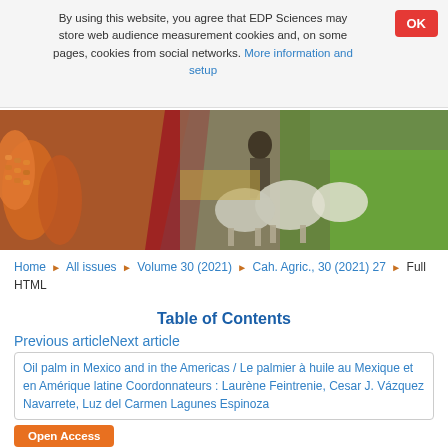By using this website, you agree that EDP Sciences may store web audience measurement cookies and, on some pages, cookies from social networks. More information and setup
[Figure (photo): Agricultural banner image showing corn cobs on left, a person with animals (cattle/sheep) in center, and green rice/crop fields on right]
Home ▶ All issues ▶ Volume 30 (2021) ▶ Cah. Agric., 30 (2021) 27 ▶ Full HTML
Table of Contents
Previous articleNext article
Oil palm in Mexico and in the Americas / Le palmier à huile au Mexique et en Amérique latine Coordonnateurs : Laurène Feintrenie, Cesar J. Vázquez Navarrete, Luz del Carmen Lagunes Espinoza
Open Access